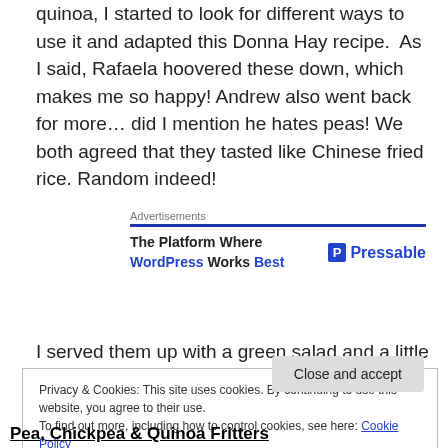quinoa, I started to look for different ways to use it and adapted this Donna Hay recipe.  As I said, Rafaela hoovered these down, which makes me so happy! Andrew also went back for more… did I mention he hates peas! We both agreed that they tasted like Chinese fried rice. Random indeed!
[Figure (other): Advertisements banner: The Platform Where WordPress Works Best — Pressable]
I served them up with a green salad and a little bit of
Privacy & Cookies: This site uses cookies. By continuing to use this website, you agree to their use.
To find out more, including how to control cookies, see here: Cookie Policy
Close and accept
Pea, Chickpea & Quinoa Fritters